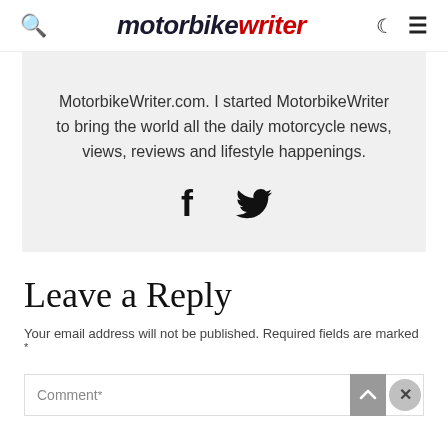motorbike writer
MotorbikeWriter.com. I started MotorbikeWriter to bring the world all the daily motorcycle news, views, reviews and lifestyle happenings.
[Figure (other): Facebook and Twitter social media icons]
Leave a Reply
Your email address will not be published. Required fields are marked *
Comment *